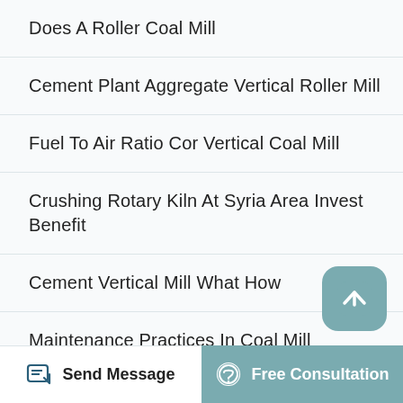Does A Roller Coal Mill
Cement Plant Aggregate Vertical Roller Mill
Fuel To Air Ratio Cor Vertical Coal Mill
Crushing Rotary Kiln At Syria Area Invest Benefit
Cement Vertical Mill What How
Maintenance Practices In Coal Mill
Finish Mill Atau Cement Mill
Factory Sale Coal Grinding Mill